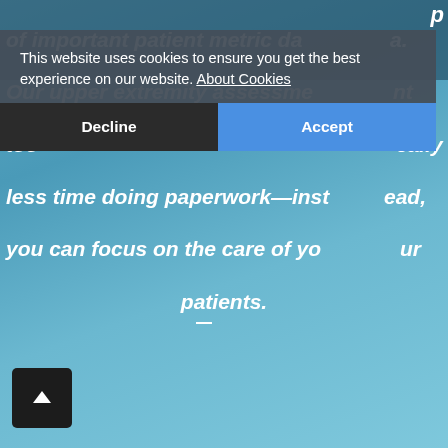[Figure (screenshot): Medical website screenshot with blue background showing text about patient metric data and upper extremity assessment tools, overlaid by a cookie consent dialog with Decline and Accept buttons, and a scroll-to-top arrow button in the bottom left.]
of important patient metric data.
Our upper extremity assessment tool dramatically less time doing paperwork—instead, you can focus on the care of your patients.
This website uses cookies to ensure you get the best experience on our website. About Cookies
Decline
Accept